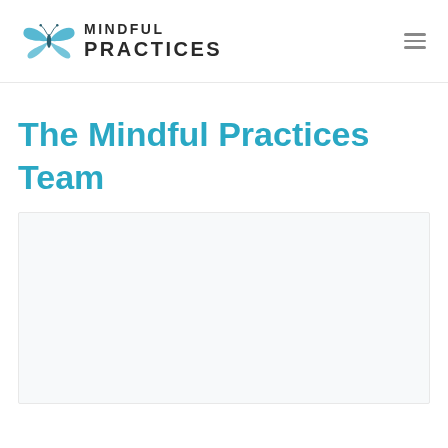MINDFUL PRACTICES
The Mindful Practices Team
[Figure (photo): A large image placeholder box with light gray/blue background, representing a team photo or illustration for the Mindful Practices Team page.]